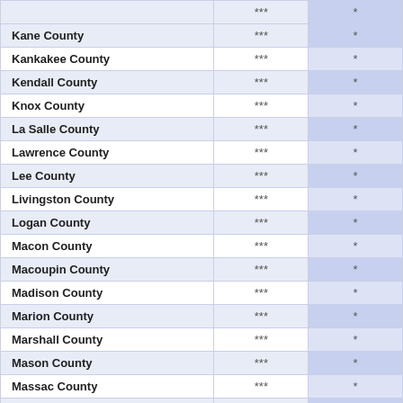|  | *** | * |
| Kane County | *** | * |
| Kankakee County | *** | * |
| Kendall County | *** | * |
| Knox County | *** | * |
| La Salle County | *** | * |
| Lawrence County | *** | * |
| Lee County | *** | * |
| Livingston County | *** | * |
| Logan County | *** | * |
| Macon County | *** | * |
| Macoupin County | *** | * |
| Madison County | *** | * |
| Marion County | *** | * |
| Marshall County | *** | * |
| Mason County | *** | * |
| Massac County | *** | * |
| McDonough County | *** | * |